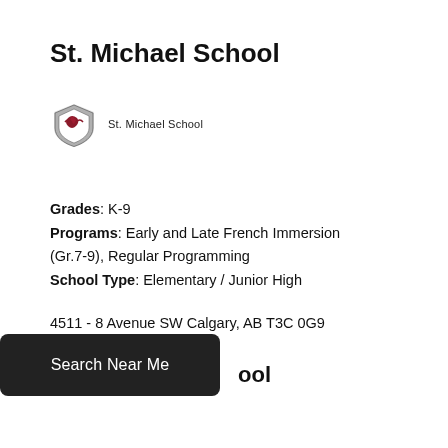St. Michael School
[Figure (logo): St. Michael School logo with shield emblem in dark red/grey and text 'St. Michael School']
Grades: K-9
Programs: Early and Late French Immersion (Gr.7-9), Regular Programming
School Type: Elementary / Junior High
4511 - 8 Avenue SW Calgary, AB T3C 0G9
tel: 403-500-2021
Search Near Me
ool